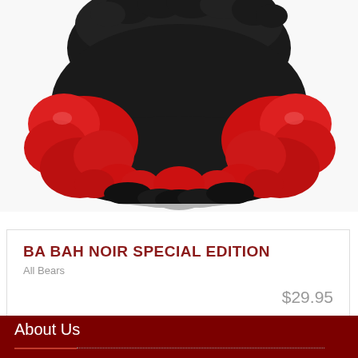[Figure (photo): A black furry teddy bear with red boxing gloves, shown from mid-body down against a white background]
BA BAH NOIR SPECIAL EDITION
All Bears
$29.95
About Us
Teddy Bears Direct is made up of a loyal team who are dedicated and truly passionate about Teddy Bears and bringing you the best possible products with the best possible web site...